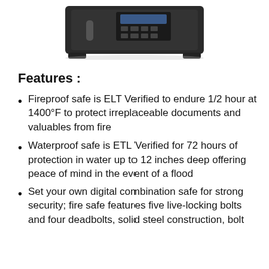[Figure (photo): A black fireproof/waterproof safe with a digital keypad, viewed from a slightly elevated angle.]
Features :
Fireproof safe is ELT Verified to endure 1/2 hour at 1400°F to protect irreplaceable documents and valuables from fire
Waterproof safe is ETL Verified for 72 hours of protection in water up to 12 inches deep offering peace of mind in the event of a flood
Set your own digital combination safe for strong security; fire safe features five live-locking bolts and four deadbolts, solid steel construction, bolt